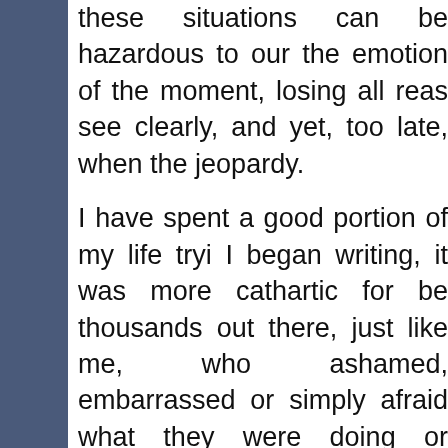these situations can be hazardous to our the emotion of the moment, losing all reas see clearly, and yet, too late, when the jeopardy.
I have spent a good portion of my life tryi I began writing, it was more cathartic for be thousands out there, just like me, who ashamed, embarrassed or simply afraid what they were doing or reading, and so the symptoms, the feelings, the situations identify with, to let them know there are a have to seek them out.
"New Beginnings" is a romantic thriller, story of growing abuse in a marriage. before disaster totally hits, and adding to choices that are made along the way, their consequences. The story leads you